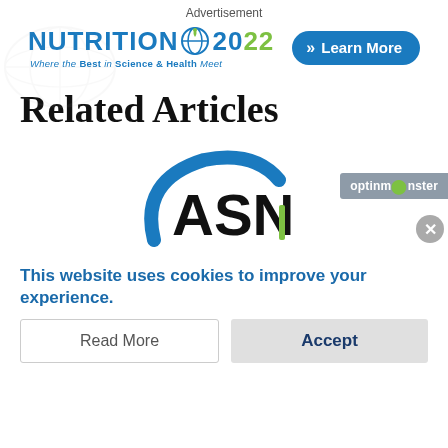Advertisement
[Figure (logo): Nutrition 2022 conference logo with globe icon and tagline 'Where the Best in Science & Health Meet', plus a 'Learn More' button]
Related Articles
[Figure (logo): ASN (American Society for Nutrition) logo with blue arc and stylized ASN letters]
optinmonster
This website uses cookies to improve your experience.
Read More
Accept